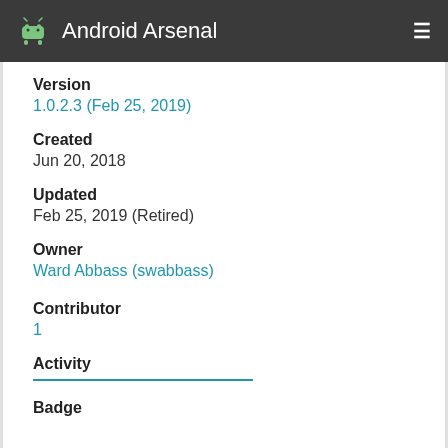Android Arsenal
Version
1.0.2.3 (Feb 25, 2019)
Created
Jun 20, 2018
Updated
Feb 25, 2019 (Retired)
Owner
Ward Abbass (swabbass)
Contributor
1
Activity
Badge